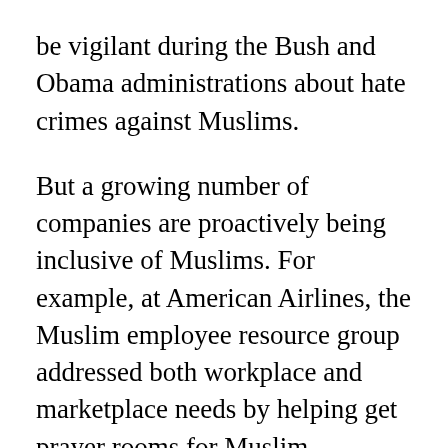be vigilant during the Bush and Obama administrations about hate crimes against Muslims.
But a growing number of companies are proactively being inclusive of Muslims. For example, at American Airlines, the Muslim employee resource group addressed both workplace and marketplace needs by helping get prayer rooms for Muslim passengers at Dallas/Fort Worth International Airport; the group also recommends vendors to provide halal meals on flights, and provides training for flight attendants on Muslim